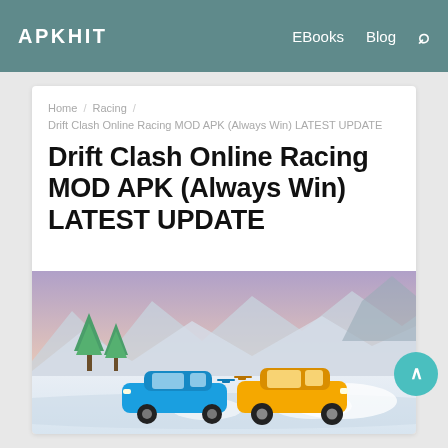APKHIT   EBooks   Blog
Home / Racing / Drift Clash Online Racing MOD APK (Always Win) LATEST UPDATE
Drift Clash Online Racing MOD APK (Always Win) LATEST UPDATE
[Figure (illustration): Screenshot from the Drift Clash Online Racing game showing two cars — a blue sports car and a yellow sports car — drifting on a winter snowy road with mountains and pine trees in the background. Pink sky visible.]